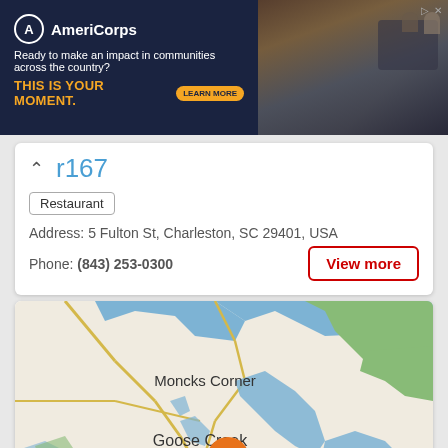[Figure (screenshot): AmeriCorps advertisement banner with dark navy background, logo, tagline 'Ready to make an impact in communities across the country?', headline 'THIS IS YOUR MOMENT.', Learn More button, and photo of people at computers]
r167
Restaurant
Address: 5 Fulton St, Charleston, SC 29401, USA
Phone: (843) 253-0300
View more
[Figure (map): Google Maps screenshot showing Charleston, SC area with location pin marker. Shows Moncks Corner, Goose Creek, North Charleston, and Charleston labels. Orange location pin placed near North Charleston/Charleston area.]